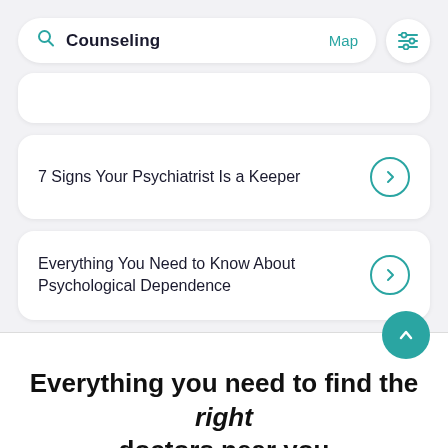[Figure (screenshot): Search bar showing 'Counseling' with a teal search icon, a 'Map' link in teal, and a filter/settings button on the right]
7 Signs Your Psychiatrist Is a Keeper
Everything You Need to Know About Psychological Dependence
Everything you need to find the right doctors near you